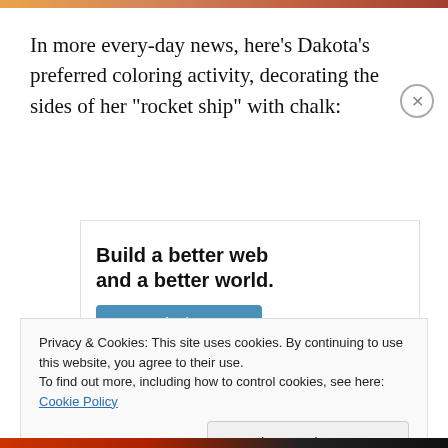[Figure (photo): Top decorative image strip, partially visible at the top of the page]
In more every-day news, here’s Dakota’s preferred coloring activity, decorating the sides of her “rocket ship” with chalk:
[Figure (infographic): Advertisement banner: ‘Build a better web and a better world.’ with an Apply button and a circular avatar photo of a man thinking]
Privacy & Cookies: This site uses cookies. By continuing to use this website, you agree to their use.
To find out more, including how to control cookies, see here: Cookie Policy
Close and accept